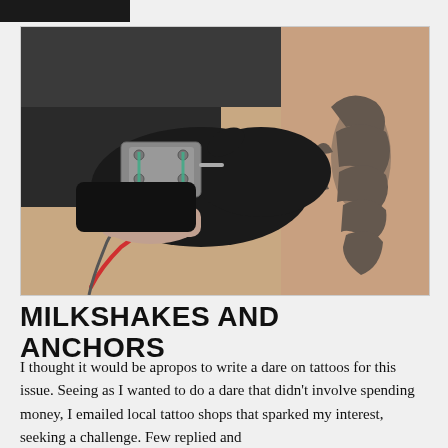[Figure (photo): Close-up photo of a tattoo artist wearing black gloves using a tattoo machine on a person's arm/shoulder that already has an existing tattoo design.]
MILKSHAKES AND ANCHORS
I thought it would be apropos to write a dare on tattoos for this issue. Seeing as I wanted to do a dare that didn't involve spending money, I emailed local tattoo shops that sparked my interest, seeking a challenge. Few replied and